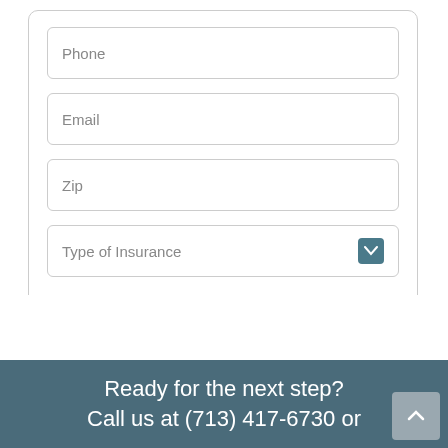Phone
Email
Zip
Type of Insurance
SUBMIT
Ready for the next step?
Call us at (713) 417-6730 or